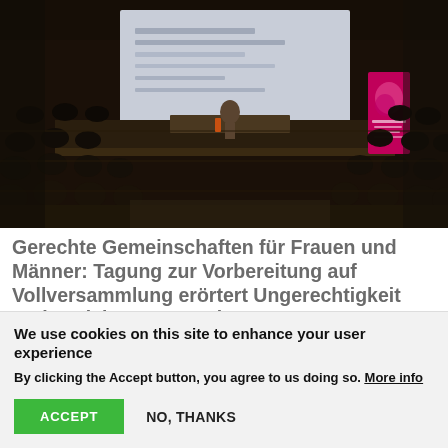[Figure (photo): Dark conference hall with audience seated in rows facing a presentation screen at the front. A speaker stands at a podium on stage. A pink/magenta branded banner stands to the right. The room has dark wood paneling.]
Gerechte Gemeinschaften für Frauen und Männer: Tagung zur Vorbereitung auf Vollversammlung erörtert Ungerechtigkeit und soziale Megatrends
We use cookies on this site to enhance your user experience
By clicking the Accept button, you agree to us doing so. More info
ACCEPT  NO, THANKS